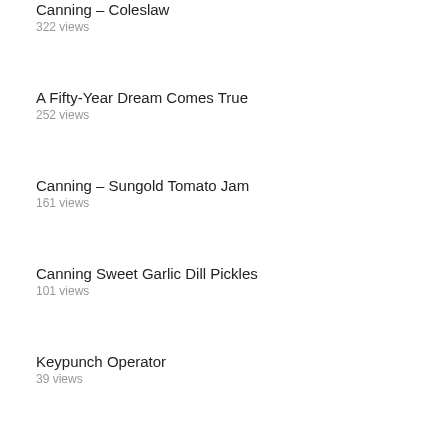Canning – Coleslaw
322 views
A Fifty-Year Dream Comes True
252 views
Canning – Sungold Tomato Jam
161 views
Canning Sweet Garlic Dill Pickles
101 views
Keypunch Operator
39 views
Monday, August 13, 2018 – Genetic Mirroring
31 views
A Son's Letter To His Mother
21 views
Home Alone
20 views